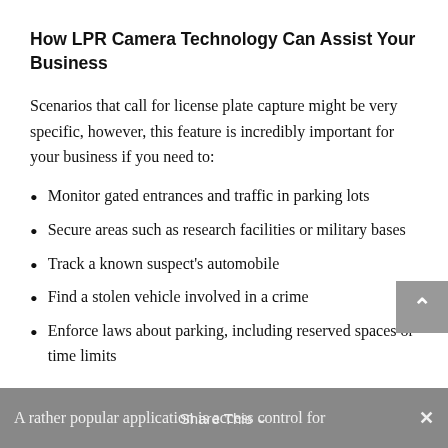How LPR Camera Technology Can Assist Your Business
Scenarios that call for license plate capture might be very specific, however, this feature is incredibly important for your business if you need to:
Monitor gated entrances and traffic in parking lots
Secure areas such as research facilities or military bases
Track a known suspect's automobile
Find a stolen vehicle involved in a crime
Enforce laws about parking, including reserved spaces or time limits
A rather popular application is access control for